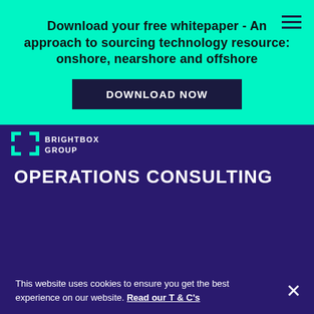Download your free whitepaper - An approach to sourcing technology resource: onshore, nearshore and offshore
DOWNLOAD NOW
[Figure (logo): Brightbox Group logo with bracket icon and white text on dark purple background]
OPERATIONS CONSULTING
This website uses cookies to ensure you get the best experience on our website. Read our T & C's